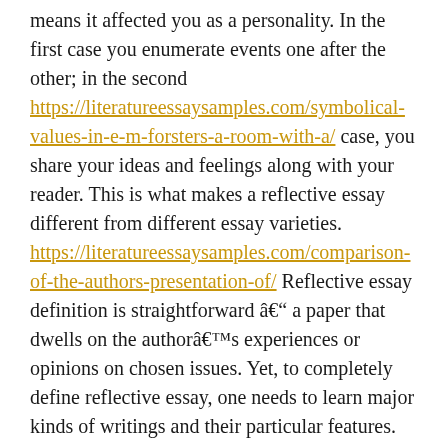means it affected you as a personality. In the first case you enumerate events one after the other; in the second https://literatureessaysamples.com/symbolical-values-in-e-m-forsters-a-room-with-a/ case, you share your ideas and feelings along with your reader. This is what makes a reflective essay different from different essay varieties. https://literatureessaysamples.com/comparison-of-the-authors-presentation-of/ Reflective essay definition is straightforward â a paper that dwells on the authorâs experiences or opinions on chosen issues. Yet, to completely define reflective essay, one needs to learn major kinds of writings and their particular features.
Education adjustments rapidly; lecturers modify curricula to regulate them to todayâs trends and help https://literatureessaysamples.com/love-is-not-all-commentary-and-analysis/ students decide up critical skills. One of such abilities is the flexibility to witness and assess